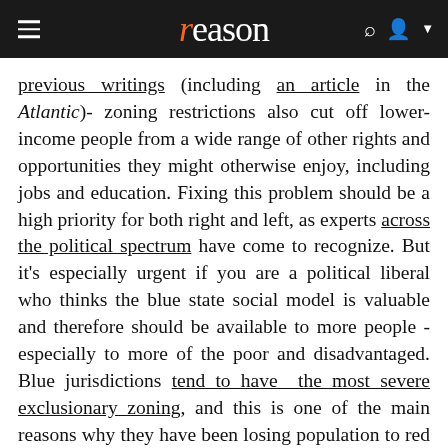reason
previous writings (including an article in the Atlantic)- zoning restrictions also cut off lower-income people from a wide range of other rights and opportunities they might otherwise enjoy, including jobs and education. Fixing this problem should be a high priority for both right and left, as experts across the political spectrum have come to recognize. But it's especially urgent if you are a political liberal who thinks the blue state social model is valuable and therefore should be available to more people - especially to more of the poor and disadvantaged. Blue jurisdictions tend to have the most severe exclusionary zoning, and this is one of the main reasons why they have been losing population to red states like Texas and Florida.
Demsas also rightly points out that high housing costs caused by zoning undercuts blue states' openness to immigrants and refugees: